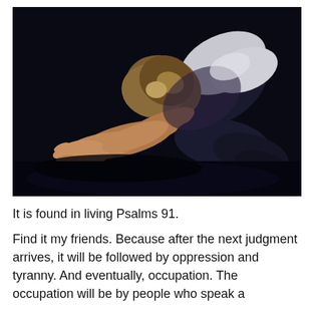[Figure (photo): A person bowing deeply with head down, reaching forward with outstretched hands against a black background, appearing to be in a posture of prostration or prayer. The image is stylized/posterized with dark blues and warm skin tones.]
It is found in living Psalms 91.
Find it my friends. Because after the next judgment arrives, it will be followed by oppression and tyranny. And eventually, occupation. The occupation will be by people who speak a